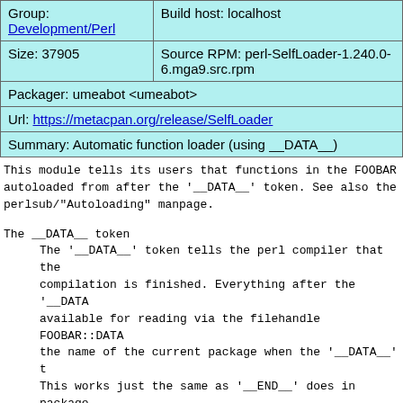| Group:
Development/Perl | Build host: localhost |
| Size: 37905 | Source RPM: perl-SelfLoader-1.240.0-6.mga9.src.rpm |
| Packager: umeabot <umeabot> |  |
| Url: https://metacpan.org/release/SelfLoader |  |
| Summary: Automatic function loader (using __DATA__) |  |
This module tells its users that functions in the FOOBAR autoloaded from after the '__DATA__' token. See also the perlsub/"Autoloading" manpage.
The __DATA__ token
    The '__DATA__' token tells the perl compiler that the compilation is finished. Everything after the '__DATA available for reading via the filehandle FOOBAR::DATA the name of the current package when the '__DATA__' t This works just the same as '__END__' does in package other modules data after '__END__' is not automatical whereas data after '__DATA__' is. The '__DATA__' toke recognized in versions of perl prior to 5.001m.
Note that it is possible to have '__DATA__' tokens in